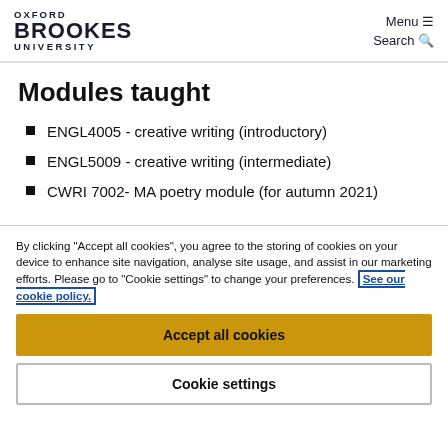OXFORD BROOKES UNIVERSITY  Menu ☰  Search 🔍
Modules taught
ENGL4005 - creative writing (introductory)
ENGL5009 - creative writing (intermediate)
CWRI 7002- MA poetry module (for autumn 2021)
By clicking "Accept all cookies", you agree to the storing of cookies on your device to enhance site navigation, analyse site usage, and assist in our marketing efforts. Please go to "Cookie settings" to change your preferences. See our cookie policy.
Accept all cookies
Cookie settings